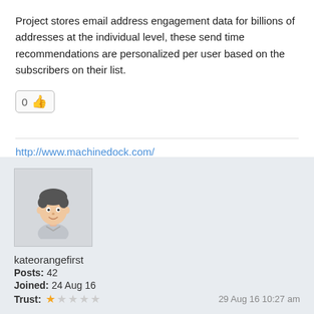Project stores email address engagement data for billions of addresses at the individual level, these send time recommendations are personalized per user based on the subscribers on their list.
[Figure (other): Like button with count 0 and thumbs up emoji]
http://www.machinedock.com/
[Figure (photo): User avatar placeholder showing cartoon male face illustration]
kateorangefirst
Posts: 42
Joined: 24 Aug 16
Trust: ★☆☆☆☆    29 Aug 16 10:27 am